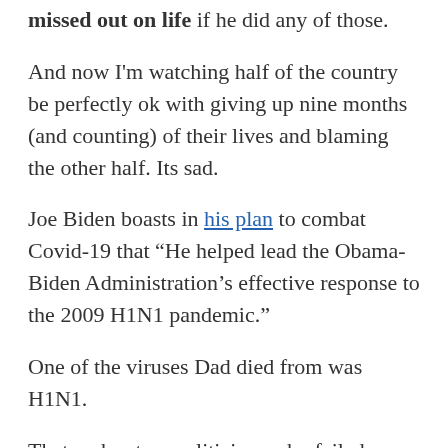missed out on life if he did any of those.
And now I'm watching half of the country be perfectly ok with giving up nine months (and counting) of their lives and blaming the other half. Its sad.
Joe Biden boasts in his plan to combat Covid-19 that “He helped lead the Obama-Biden Administration’s effective response to the 2009 H1N1 pandemic.”
One of the viruses Dad died from was H1N1.
That makes two politicians who failed my parents